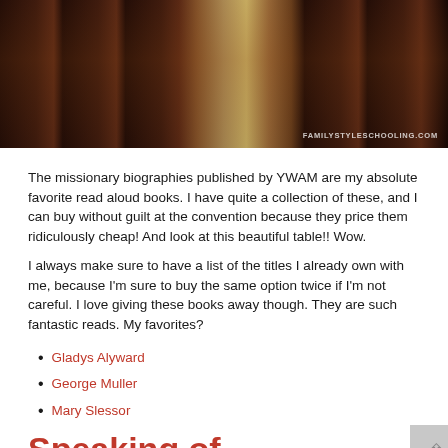[Figure (photo): Stacks of YWAM missionary biography books on a table at a convention, with watermark FAMILYSTYLESCHOOLING.COM]
The missionary biographies published by YWAM are my absolute favorite read aloud books. I have quite a collection of these, and I can buy without guilt at the convention because they price them ridiculously cheap! And look at this beautiful table!! Wow.
I always make sure to have a list of the titles I already own with me, because I'm sure to buy the same option twice if I'm not careful. I love giving these books away though. They are such fantastic reads. My favorites?
Gladys Alyward
George Muller
Mary Slessor
Speaking of